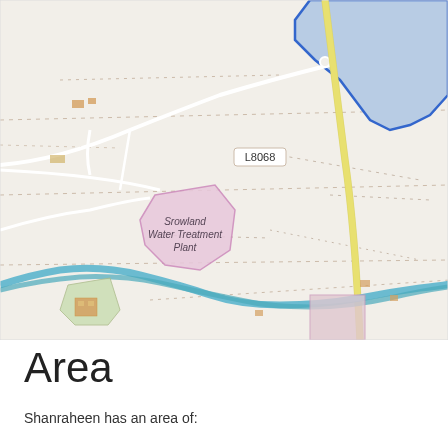[Figure (map): OpenStreetMap showing Shanraheen area with roads L8068 and L8067 labeled, Srowland Water Treatment Plant (pink polygon), a river/canal (blue), a highlighted territory (blue filled polygon) in upper right, yellow road running north-south, and a black rail or road line running diagonally.]
Area
Shanraheen has an area of: